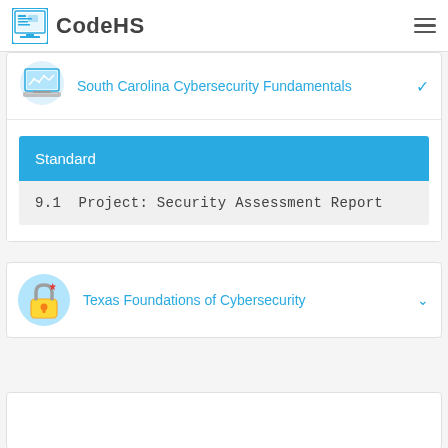CodeHS
[Figure (illustration): Laptop/monitor icon in blue for South Carolina Cybersecurity Fundamentals]
South Carolina Cybersecurity Fundamentals
Standard
9.1  Project: Security Assessment Report
[Figure (illustration): Padlock icon with Texas flag colors for Texas Foundations of Cybersecurity]
Texas Foundations of Cybersecurity